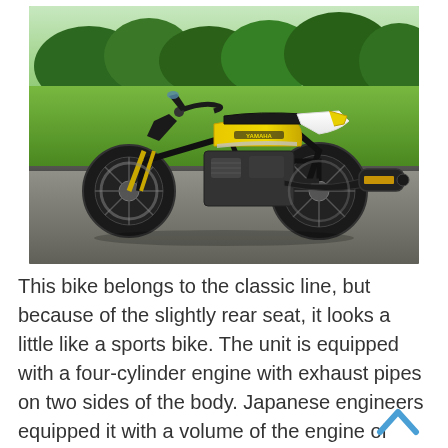[Figure (photo): A yellow and white Yamaha motorcycle (custom/cafe racer style) parked on a road with green grass and trees in the background. The bike has a black frame, black exhaust on the right side, and yellow fuel tank with Yamaha branding.]
This bike belongs to the classic line, but because of the slightly rear seat, it looks a little like a sports bike. The unit is equipped with a four-cylinder engine with exhaust pipes on two sides of the body. Japanese engineers equipped it with a volume of the engine of 1188 cubic